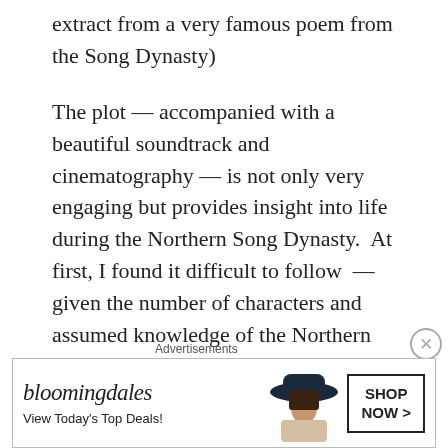extract from a very famous poem from the Song Dynasty)
The plot — accompanied with a beautiful soundtrack and cinematography — is not only very engaging but provides insight into life during the Northern Song Dynasty.  At first, I found it difficult to follow  — given the number of characters and assumed knowledge of the Northern Song Dynasty. However, after some research, it finally started to make sense which increased my appreciation for the drama even more. Given this, I thought it would be useful to introduce the main characters and some background information (if you aren't interested, skip down to the 💕 otherwise enjoy!) —
[Figure (other): Bloomingdale's advertisement banner: logo, 'View Today's Top Deals!', image of woman in wide-brim hat, 'SHOP NOW >' button]